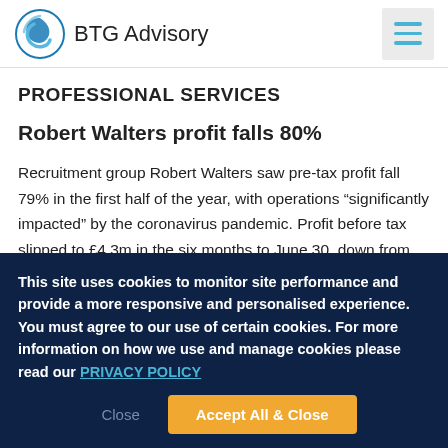[Figure (logo): BTG Advisory logo with circular blue swirl icon and text 'BTG Advisory']
PROFESSIONAL SERVICES
Robert Walters profit falls 80%
Recruitment group Robert Walters saw pre-tax profit fall 79% in the first half of the year, with operations “significantly impacted” by the coronavirus pandemic. Profit before tax slipped to £4.3m in the six months to June 30, down from
This site uses cookies to monitor site performance and provide a more responsive and personalised experience. You must agree to our use of certain cookies. For more information on how we use and manage cookies please read our PRIVACY POLICY
Close   Accept All & Close